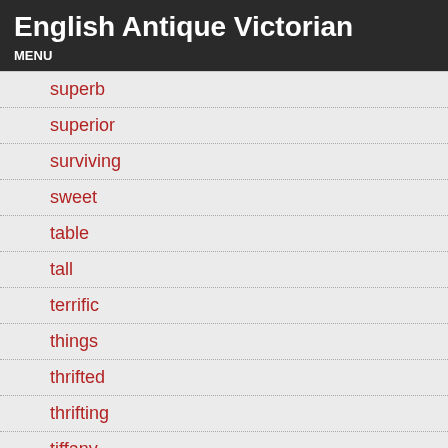English Antique Victorian
MENU
superb
superior
surviving
sweet
table
tall
terrific
things
thrifted
thrifting
tiffany
tiger
tiny
tour